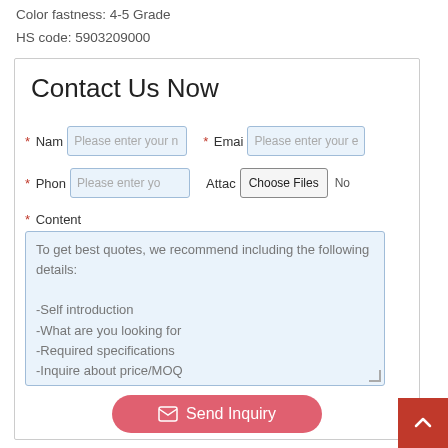Color fastness: 4-5 Grade
HS code: 5903209000
Contact Us Now
* Name  Please enter your  * Email  Please enter your
* Phone  Please enter yo  Attach  Choose Files  No
* Content
To get best quotes, we recommend including the following details:

-Self introduction
-What are you looking for
-Required specifications
-Inquire about price/MOQ
Send Inquiry